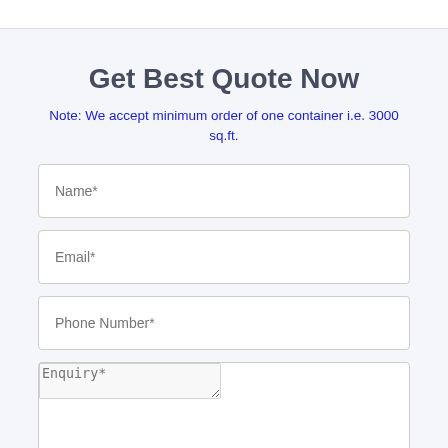Get Best Quote Now
Note: We accept minimum order of one container i.e. 3000 sq.ft.
Name*
Email*
Phone Number*
Enquiry*